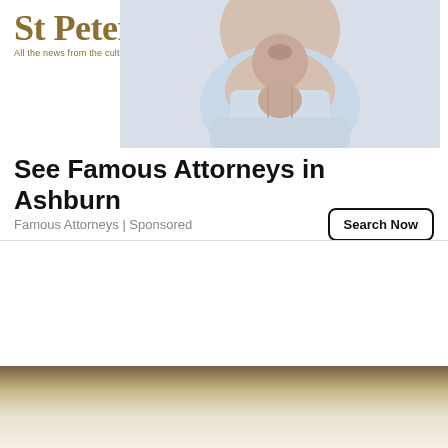St Petersburg Star
All the news from the cultural capital of Russia
[Figure (photo): Close-up photo of an older man's neck and lower face/chin, wearing a light blue shirt. The image is cropped to show only the neck/throat area. Used as advertisement imagery for attorneys.]
See Famous Attorneys in Ashburn
Famous Attorneys | Sponsored
Search Now
[Figure (other): Bottom gradient/dark decorative bar area fading from dark brown to light tan at bottom of page]